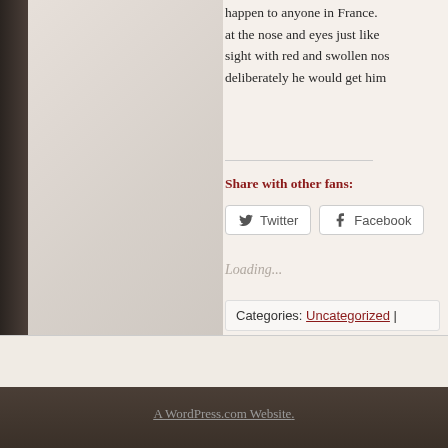happen to anyone in France. at the nose and eyes just like sight with red and swollen nos deliberately he would get him
Share with other fans:
Twitter  Facebook
Loading...
Categories: Uncategorized |
A WordPress.com Website.